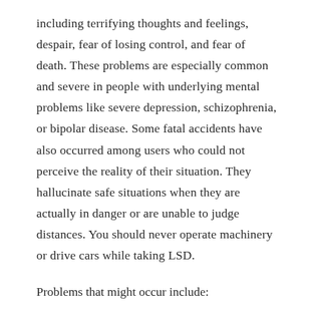including terrifying thoughts and feelings, despair, fear of losing control, and fear of death. These problems are especially common and severe in people with underlying mental problems like severe depression, schizophrenia, or bipolar disease. Some fatal accidents have also occurred among users who could not perceive the reality of their situation. They hallucinate safe situations when they are actually in danger or are unable to judge distances. You should never operate machinery or drive cars while taking LSD.
Problems that might occur include:
Extreme changes in behavior and mood; person may sit or recline in a trance-like state